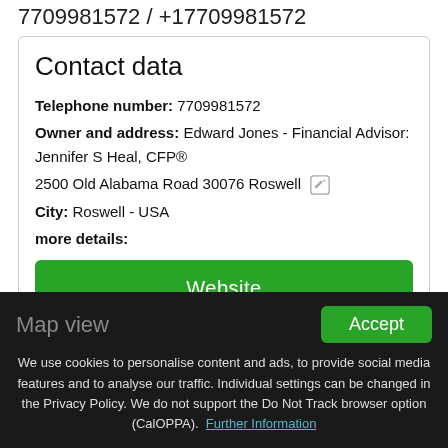7709981572 / +17709981572
Contact data
Telephone number: 7709981572
Owner and address: Edward Jones - Financial Advisor: Jennifer S Heal, CFP®
2500 Old Alabama Road 30076 Roswell
City: Roswell - USA
more details:
Website
This info is supplied without liability.
Map view
Accept
We use cookies to personalise content and ads, to provide social media features and to analyse our traffic. Individual settings can be changed in the Privacy Policy. We do not support the Do Not Track browser option (CalOPPA). Further Information